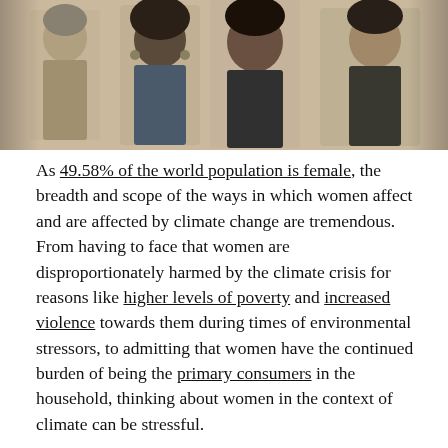[Figure (photo): Black and white photo collage of diverse women against a light peachy-beige background, showing several women smiling and posing.]
As 49.58% of the world population is female, the breadth and scope of the ways in which women affect and are affected by climate change are tremendous. From having to face that women are disproportionately harmed by the climate crisis for reasons like higher levels of poverty and increased violence towards them during times of environmental stressors, to admitting that women have the continued burden of being the primary consumers in the household, thinking about women in the context of climate can be stressful.
But more so than anything else, it can be hopeful. Despite the odds, the media, and the glass ceilings on